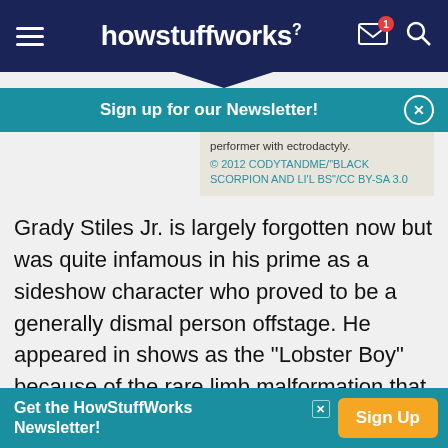howstuffworks
Sign up for our Newsletter!
performer with ectrodactyly.
© 2012 CODYTANDME/"BLACK SCORPION AND LI'L BS"/CC BY-SA 3.0
Grady Stiles Jr. is largely forgotten now but was quite infamous in his prime as a sideshow character who proved to be a generally dismal person offstage. He appeared in shows as the "Lobster Boy" because of the rare limb malformation that caused his hands and feet to have a claw-like
Get the HowStuffWorks Newsletter!  Sign Up